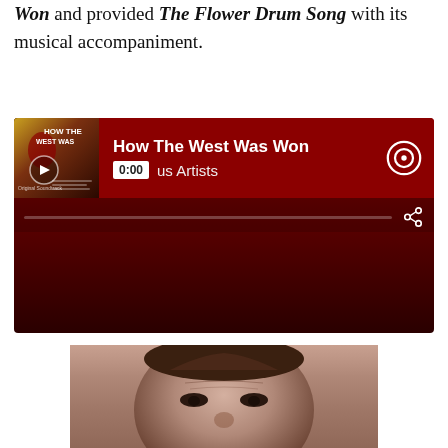Won and provided The Flower Drum Song with its musical accompaniment.
[Figure (screenshot): Spotify embedded player widget showing 'How The West Was Won' by Various Artists with album art, play button, timer showing 0:00, progress bar, and share icon on a dark red background.]
[Figure (photo): Sepia-toned close-up portrait photograph of an Asian man's face, showing his eyes, nose, and forehead.]